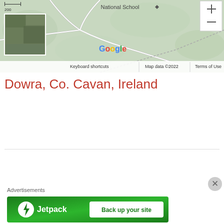[Figure (map): Google Maps screenshot showing Dowra area, Co. Cavan, Ireland. Shows roads, green terrain, National School label, satellite thumbnail inset, zoom controls, scale bar showing 200, Google logo, and map attribution.]
Dowra, Co. Cavan, Ireland
Advertisements
[Figure (other): Jetpack advertisement banner with green background showing Jetpack logo and 'Back up your site' button. X close button in corner.]